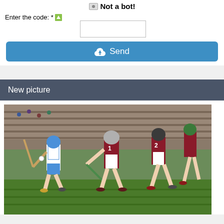Not a bot!
Enter the code: *
Send
New picture
[Figure (photo): Hurling match action photo: A player in white and blue jersey with a hurley stick faces off against opponents in dark maroon jerseys on a grass pitch, with stadium seating visible in background.]